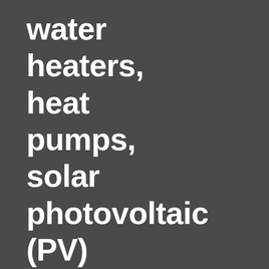water heaters, heat pumps, solar photovoltaic (PV) systems, small-scale wind systems,